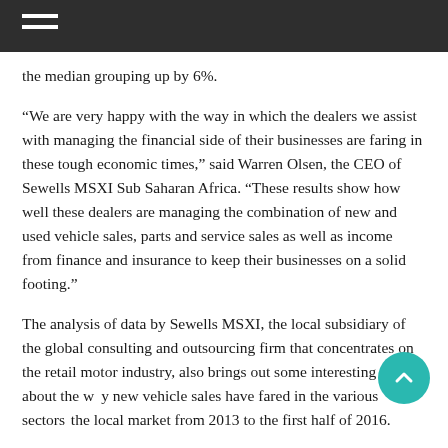the median grouping up by 6%.
“We are very happy with the way in which the dealers we assist with managing the financial side of their businesses are faring in these tough economic times,” said Warren Olsen, the CEO of Sewells MSXI Sub Saharan Africa. “These results show how well these dealers are managing the combination of new and used vehicle sales, parts and service sales as well as income from finance and insurance to keep their businesses on a solid footing.”
The analysis of data by Sewells MSXI, the local subsidiary of the global consulting and outsourcing firm that concentrates on the retail motor industry, also brings out some interesting facts about the way new vehicle sales have fared in the various sectors of the local market from 2013 to the first half of 2016.
For instance, the segments which tend to be the